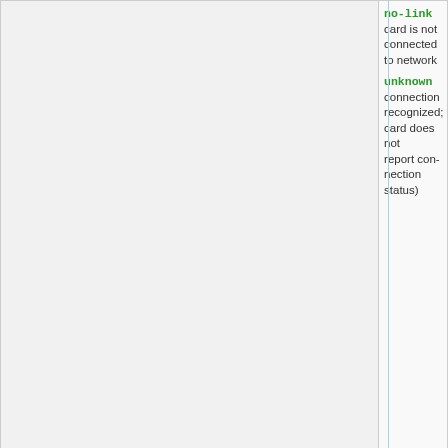no-link — card is not connected to network
unknown — connection recognized; card does not report connection status)
| Parameter | Description |
| --- | --- |
| tx-flow-control (yes | no) | Whether TX flow control is used |
| rx-flow-control (yes | no) | Whether RX flow control is used |
| combo-state (copper | sfp) | Used combo-mode for combo interfaces |
| sfp-module-present (yes | no) | Whether a transceiver is present |
| sfp-rx-lose (yes | no) | Whether a receive signal is lost |